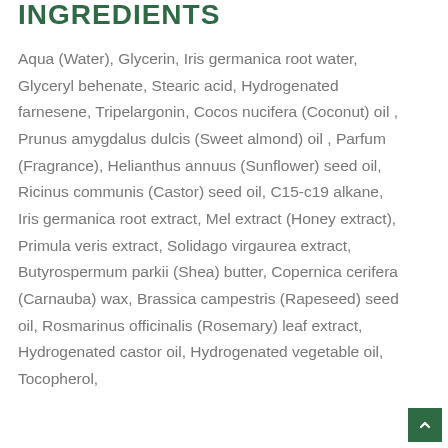INGREDIENTS
Aqua (Water), Glycerin, Iris germanica root water, Glyceryl behenate, Stearic acid, Hydrogenated farnesene, Tripelargonin, Cocos nucifera (Coconut) oil , Prunus amygdalus dulcis (Sweet almond) oil , Parfum (Fragrance), Helianthus annuus (Sunflower) seed oil, Ricinus communis (Castor) seed oil, C15-c19 alkane, Iris germanica root extract, Mel extract (Honey extract), Primula veris extract, Solidago virgaurea extract, Butyrospermum parkii (Shea) butter, Copernica cerifera (Carnauba) wax, Brassica campestris (Rapeseed) seed oil, Rosmarinus officinalis (Rosemary) leaf extract, Hydrogenated castor oil, Hydrogenated vegetable oil, Tocopherol,